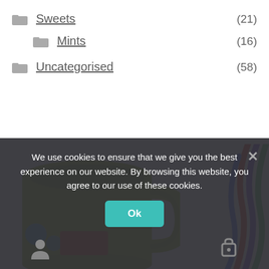Sweets (21)
Mints (16)
Uncategorised (58)
[Figure (photo): A yellow-green ceramic mug with colorful decorations on a white background, partially visible. On the right side, colorful candy straps (red, green, purple) are visible.]
We use cookies to ensure that we give you the best experience on our website. By browsing this website, you agree to our use of these cookies.